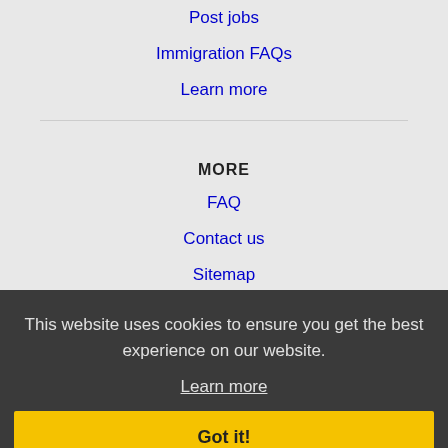Post jobs
Immigration FAQs
Learn more
MORE
FAQ
Contact us
Sitemap
Legal
Privacy
This website uses cookies to ensure you get the best experience on our website.
Learn more
Got it!
NEARBY CITIES
Chesapeake, VA Jobs
Hampton, VA Jobs
Norfolk, VA Jobs
Portsmouth, VA Jobs